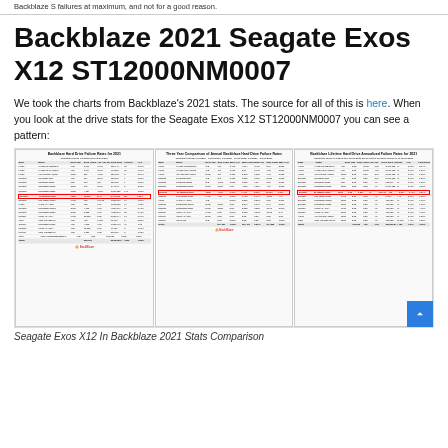Backblaze S failures at maximum, and not for a good reason.
Backblaze 2021 Seagate Exos X12 ST12000NM0007
We took the charts from Backblaze's 2021 stats. The source for all of this is here. When you look at the drive stats for the Seagate Exos X12 ST12000NM0007 you can see a pattern:
[Figure (screenshot): Three-panel screenshot showing Backblaze Hard Drive Failure Rates for 2021, Three Year Comparison of Annual Backblaze Hard Drive Failure Rates, and Backblaze Lifetime Hard Drive Annualized Failure Rates for 2021. The Seagate Exos X12 ST12000NM0007 entries are circled in red across all three tables.]
Seagate Exos X12 In Backblaze 2021 Stats Comparison